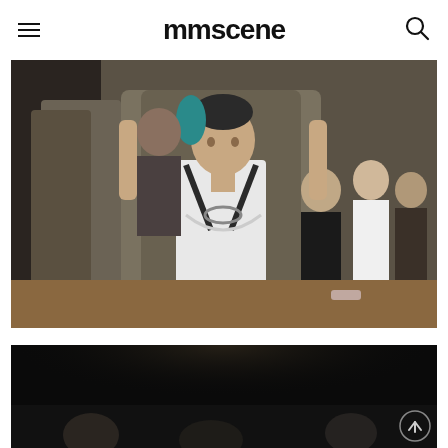mmscene
[Figure (photo): Backstage fashion show photo: a young male model with short dark hair, wearing a white tank top and leather harness with chain detail, holding open a large olive/khaki coat while being dressed. In the background are other models and crew members in a busy backstage setting.]
[Figure (photo): Dark backstage or audience photo showing silhouettes of people in a dimly lit venue, partially cropped at the bottom of the page.]